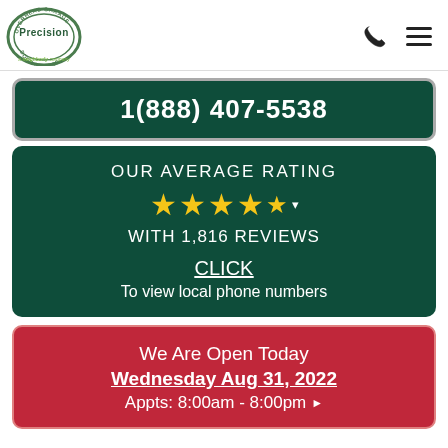[Figure (logo): Precision Overhead Garage Door Service logo — circular badge with 'Overhead Garage' at top, 'Precision' in center, 'Door Service' at bottom, 'a neighborly company' tagline below]
1(888) 407-5538
OUR AVERAGE RATING
★★★★½
WITH 1,816 REVIEWS
CLICK
To view local phone numbers
We Are Open Today
Wednesday Aug 31, 2022
Appts: 8:00am - 8:00pm